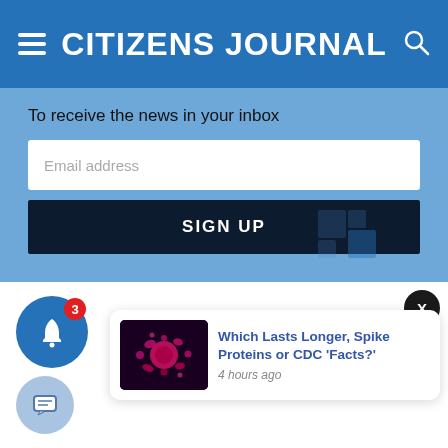CITIZENS JOURNAL
To receive the news in your inbox
Email address
SIGN UP
3
[Figure (screenshot): Notification card showing article: 'Which Lasts Longer, Spike Proteins or CDC Facts?' with virus image thumbnail and '4 hours ago' timestamp]